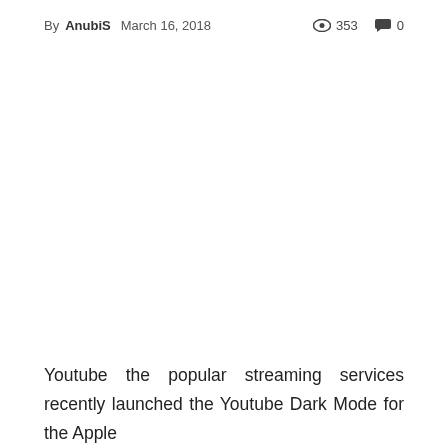By AnubiS   March 16, 2018   👁 353   💬 0
Youtube the popular streaming services recently launched the Youtube Dark Mode for the Apple